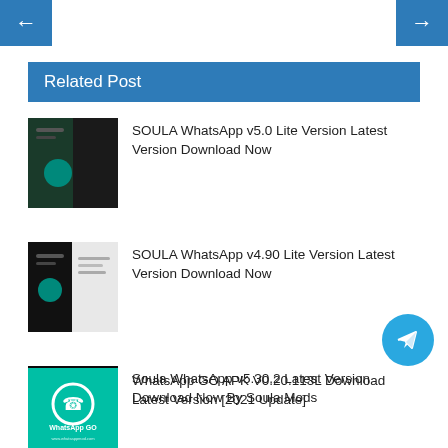[Figure (other): Left navigation arrow button (blue background, white left arrow)]
[Figure (other): Right navigation arrow button (blue background, white right arrow)]
Related Post
SOULA WhatsApp v5.0 Lite Version Latest Version Download Now
SOULA WhatsApp v4.90 Lite Version Latest Version Download Now
Soula WhatsApp v5.30.2 Latest Version Download Now By Soula Mods
WhatsApp GO APK V0.20.113L Download Latest Version [2021 Update]